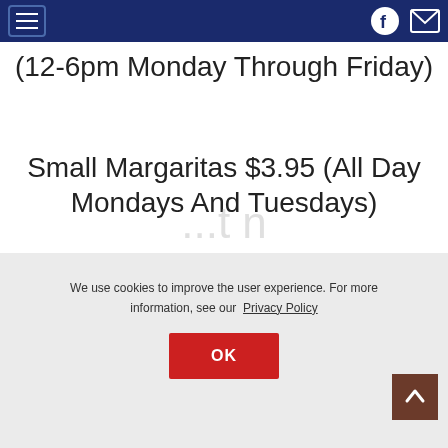Navigation bar with menu button, Facebook icon, and mail icon
(12-6pm Monday Through Friday)
Small Margaritas $3.95 (All Day Mondays And Tuesdays)
We use cookies to improve the user experience. For more information, see our Privacy Policy
OK